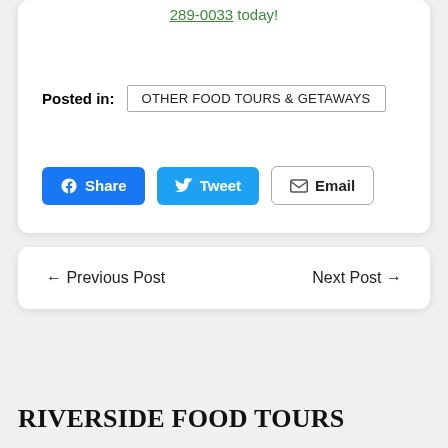289-0033 today!
Posted in: OTHER FOOD TOURS & GETAWAYS
Share  Tweet  Email
← Previous Post   Next Post →
RIVERSIDE FOOD TOURS